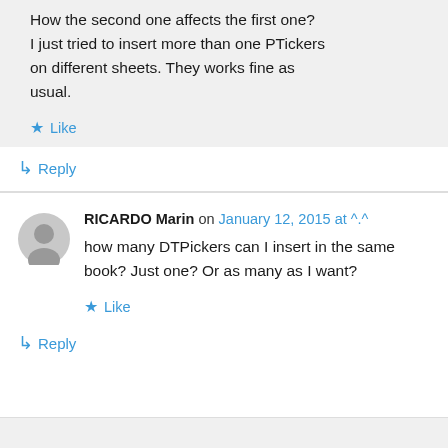How the second one affects the first one? I just tried to insert more than one PTickers on different sheets. They works fine as usual.
★ Like
↳ Reply
RICARDO Marin on January 12, 2015 at ^.^
how many DTPickers can I insert in the same book? Just one? Or as many as I want?
★ Like
↳ Reply